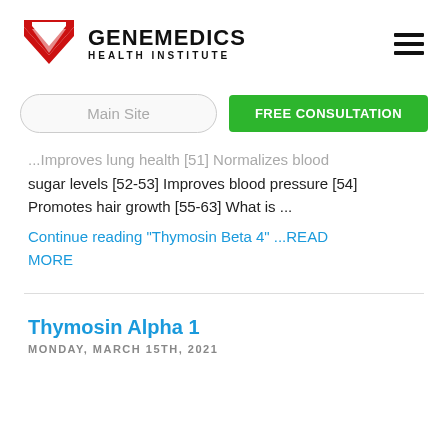[Figure (logo): Genemedics Health Institute logo with red chevron/G icon and bold text]
Main Site
FREE CONSULTATION
...Improves lung health [51] Normalizes blood sugar levels [52-53] Improves blood pressure [54] Promotes hair growth [55-63] What is ...
Continue reading "Thymosin Beta 4" ...READ MORE
Thymosin Alpha 1
MONDAY, MARCH 15TH, 2021